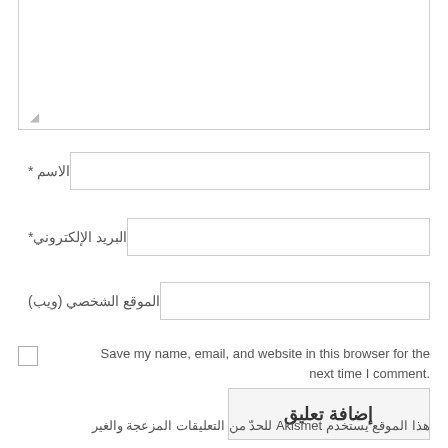[textarea]
الاسم *
البريد الإلكتروني*
الموقع الشخصي (ويب)
Save my name, email, and website in this browser for the next time I comment.
إضافة تعليق
هذا الموقع يستخدم Akismet للحدّ من التعليقات المزعجة والغير